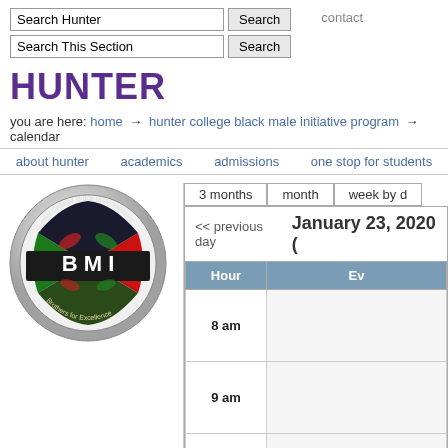Search Hunter [Search] Search This Section [Search] contact
HUNTER
you are here: home → hunter college black male initiative program → calendar
about hunter   academics   admissions   one stop for students
[Figure (logo): BMI - Hunter College Black Male Initiative Program circular seal logo with 'B M I' text in center and 'Brothers for Excellence' text around the bottom]
| Hour | Event |
| --- | --- |
| 8 am |  |
| 9 am |  |
| 10 am |  |
| 11 |  |